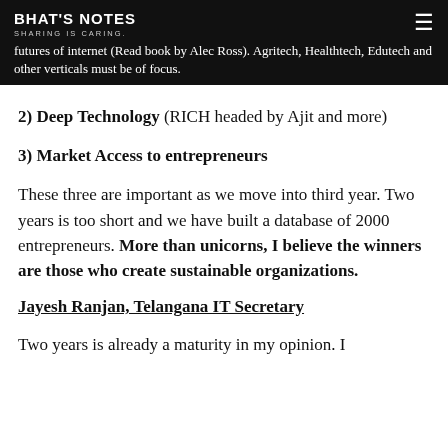BHAT'S NOTES
SHARING IS CARING.
futures of internet (Read book by Alec Ross). Agritech, Healthtech, Edutech and other verticals must be of focus.
2) Deep Technology (RICH headed by Ajit and more)
3) Market Access to entrepreneurs
These three are important as we move into third year. Two years is too short and we have built a database of 2000 entrepreneurs. More than unicorns, I believe the winners are those who create sustainable organizations.
Jayesh Ranjan, Telangana IT Secretary
Two years is already a maturity in my opinion. I